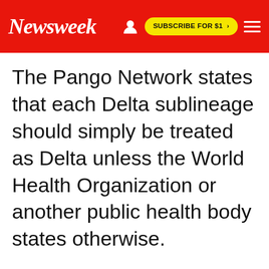Newsweek | SUBSCRIBE FOR $1 >
The Pango Network states that each Delta sublineage should simply be treated as Delta unless the World Health Organization or another public health body states otherwise.